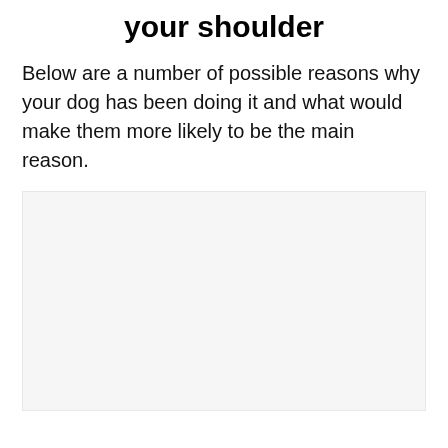your shoulder
Below are a number of possible reasons why your dog has been doing it and what would make them more likely to be the main reason.
[Figure (other): Large light gray placeholder image box]